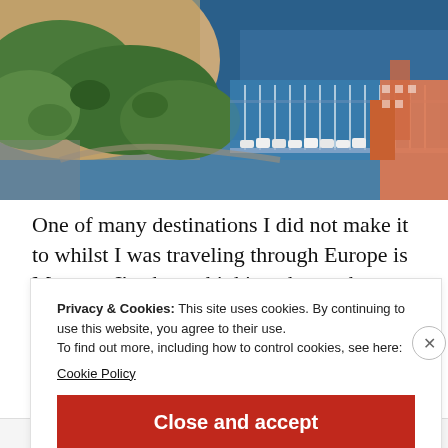[Figure (photo): Aerial view of Monaco harbor with boats, marina, green hillside with trees, and colorful buildings along the waterfront]
One of many destinations I did not make it to whilst I was traveling through Europe is Monaco. I’ve been thinking about why, because I so love to tour and try out new countries, new cities, new coastlines, new foods, new people-just the whole
Privacy & Cookies: This site uses cookies. By continuing to use this website, you agree to their use.
To find out more, including how to control cookies, see here:
Cookie Policy
Close and accept